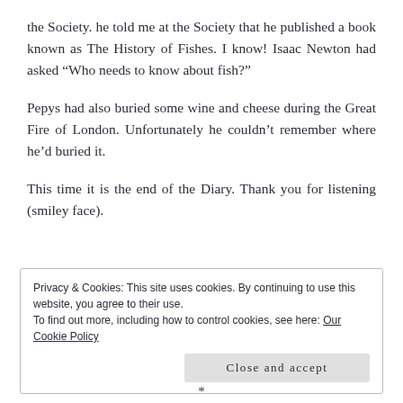the Society. he told me at the Society that he published a book known as The History of Fishes. I know! Isaac Newton had asked “Who needs to know about fish?”
Pepys had also buried some wine and cheese during the Great Fire of London. Unfortunately he couldn’t remember where he’d buried it.
This time it is the end of the Diary. Thank you for listening (smiley face).
Privacy & Cookies: This site uses cookies. By continuing to use this website, you agree to their use.
To find out more, including how to control cookies, see here: Our Cookie Policy
[Close and accept]
*